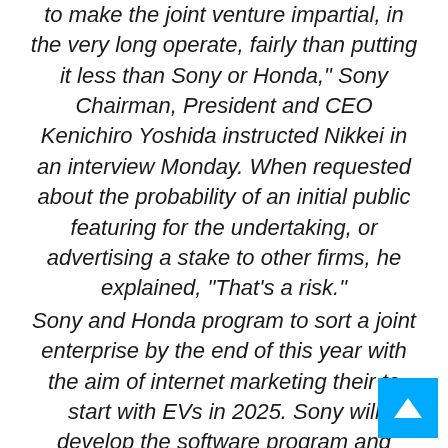to make the joint venture impartial, in the very long operate, fairly than putting it less than Sony or Honda," Sony Chairman, President and CEO Kenichiro Yoshida instructed Nikkei in an interview Monday. When requested about the probability of an initial public featuring for the undertaking, or advertising a stake to other firms, he explained, "That's a risk."
Sony and Honda program to sort a joint enterprise by the end of this year with the aim of internet marketing their to start with EVs in 2025. Sony will develop the software program and amusement content material, this kind of as movies and songs available in the motor vehicle, though Honda will provide the components and